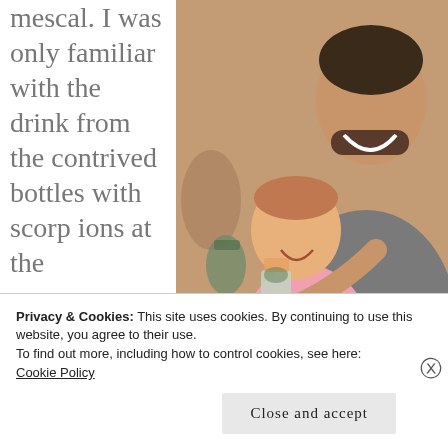mescal. I was only familiar with the drink from the contrived bottles with scorpions at the
[Figure (photo): A smiling man holding a baby girl who is holding up a drink glass, seated indoors against a brick wall background.]
Privacy & Cookies: This site uses cookies. By continuing to use this website, you agree to their use.
To find out more, including how to control cookies, see here:
Cookie Policy